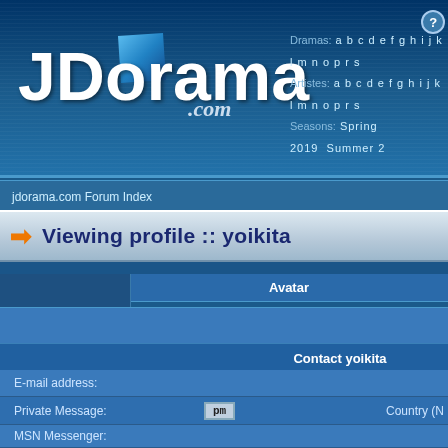[Figure (screenshot): JDorama.com website header with logo, navigation links for Dramas, Artistes, Seasons with alphabet links]
jdorama.com Forum Index
Viewing profile :: yoikita
Avatar
Contact yoikita
E-mail address:
Private Message: pm
Country (N...
MSN Messenger:
Yahoo Messenger:
Facebook:
AIM Address:
ICQ Number:
yoikita's